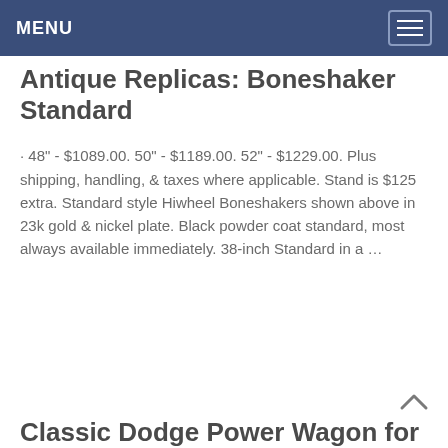MENU
Antique Replicas: Boneshaker Standard
· 48" - $1089.00. 50" - $1189.00. 52" - $1229.00. Plus shipping, handling, & taxes where applicable. Stand is $125 extra. Standard style Hiwheel Boneshakers shown above in 23k gold & nickel plate. Black powder coat standard, most always available immediately. 38-inch Standard in a …
Classic Dodge Power Wagon for